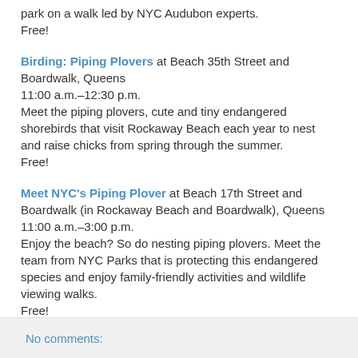park on a walk led by NYC Audubon experts.
Free!
Birding: Piping Plovers at Beach 35th Street and Boardwalk, Queens
11:00 a.m.–12:30 p.m.
Meet the piping plovers, cute and tiny endangered shorebirds that visit Rockaway Beach each year to nest and raise chicks from spring through the summer.
Free!
Meet NYC's Piping Plover at Beach 17th Street and Boardwalk (in Rockaway Beach and Boardwalk), Queens
11:00 a.m.–3:00 p.m.
Enjoy the beach? So do nesting piping plovers. Meet the team from NYC Parks that is protecting this endangered species and enjoy family-friendly activities and wildlife viewing walks.
Free!
No comments: